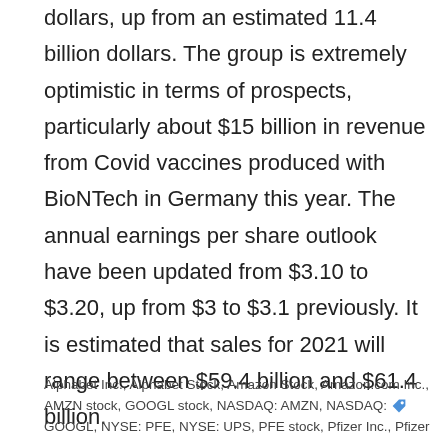dollars, up from an estimated 11.4 billion dollars. The group is extremely optimistic in terms of prospects, particularly about $15 billion in revenue from Covid vaccines produced with BioNTech in Germany this year. The annual earnings per share outlook have been updated from $3.10 to $3.20, up from $3 to $3.1 previously. It is estimated that sales for 2021 will range between $59.4 billion and $61.4 billion.
Alphabet Inc., Alphabet Stock, Amazon Stock, Amazon.com Inc., AMZN stock, GOOGL stock, NASDAQ: AMZN, NASDAQ: GOOGL, NYSE: PFE, NYSE: UPS, PFE stock, Pfizer Inc., Pfizer